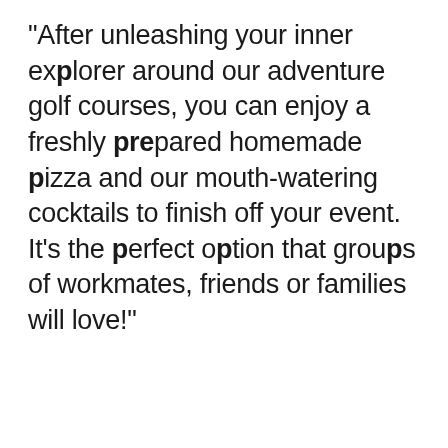“After unleashing your inner explorer around our adventure golf courses, you can enjoy a freshly prepared homemade pizza and our mouth-watering cocktails to finish off your event. It’s the perfect option that groups of workmates, friends or families will love!”